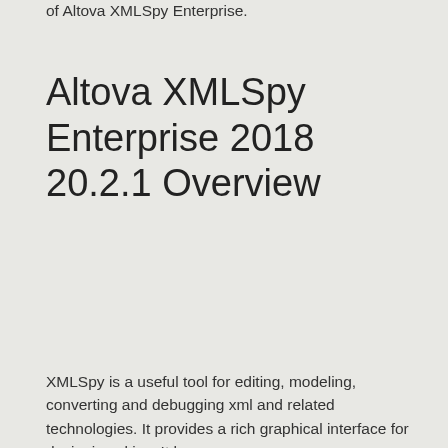of Altova XMLSpy Enterprise.
Altova XMLSpy Enterprise 2018 20.2.1 Overview
XMLSpy is a useful tool for editing, modeling, converting and debugging xml and related technologies. It provides a rich graphical interface for designing skins. It has a